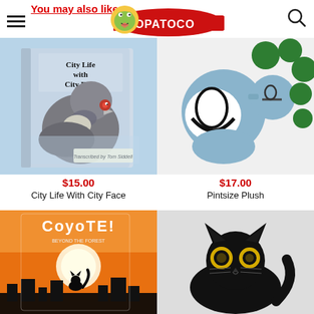You may also like
[Figure (logo): TOPATOCO logo with cartoon frog mascot on red banner]
[Figure (photo): City Life With City Face book cover showing a pigeon close-up]
$15.00
City Life With City Face
[Figure (photo): Pintsize Plush - blue cartoon robot plush toy with green appendages]
$17.00
Pintsize Plush
[Figure (photo): Coyote! comic book cover with sunset and silhouette]
[Figure (photo): Black cat plush toy with yellow eyes]